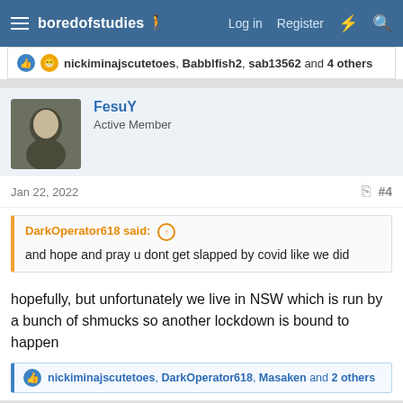boredofstudies — Log in  Register
nickiminajscutetoes, Babblfish2, sab13562 and 4 others
FesuY
Active Member
Jan 22, 2022  #4
DarkOperator618 said: and hope and pray u dont get slapped by covid like we did
hopefully, but unfortunately we live in NSW which is run by a bunch of shmucks so another lockdown is bound to happen
nickiminajscutetoes, DarkOperator618, Masaken and 2 others
Master Singleton
The Night Owl